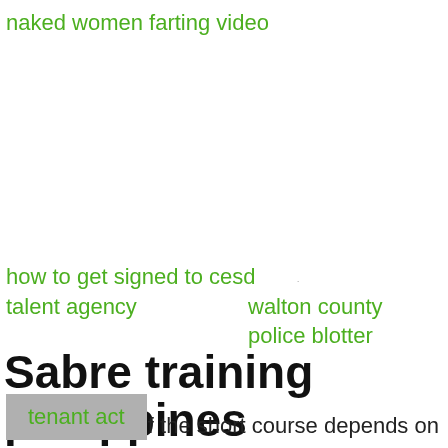naked women farting video
how to get signed to cesd talent agency
walton county police blotter
Sabre training philippines
The duration of the short course depends on the discipline, program objectives, and the workload. After paying for the course, you will find a minimum training duration on the LMS. Some courses are good for half an hour, while our longest short course takes 120 hours to
landlord
tenant act